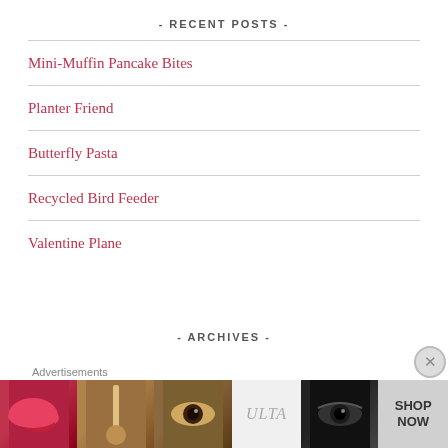- RECENT POSTS -
Mini-Muffin Pancake Bites
Planter Friend
Butterfly Pasta
Recycled Bird Feeder
Valentine Plane
- ARCHIVES -
[Figure (other): Ulta Beauty advertisement banner with cosmetics imagery including lips, makeup brush, eyes, Ulta logo, and SHOP NOW call to action]